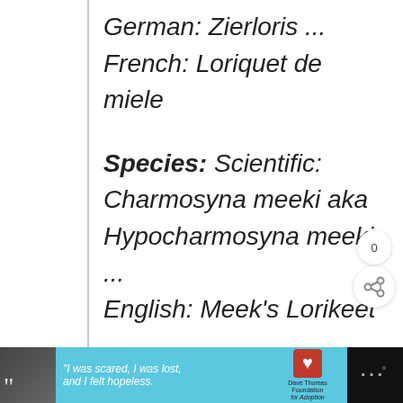German: Zierloris ...
French: Loriquet de miele
Species: Scientific: Charmosyna meeki aka Hypocharmosyna meeki ... English: Meek's Lorikeet ... Dutch: Meeks Lori ... German: Meeks Zierlori ...
[Figure (other): Share button overlay with count 0 and share icon]
[Figure (other): Advertisement banner at bottom: person photo with quote marks, teal background with text 'I was scared, I was lost, and I felt hopeless.', Dave Thomas Foundation for Adoption logo, dark right section with app icons]